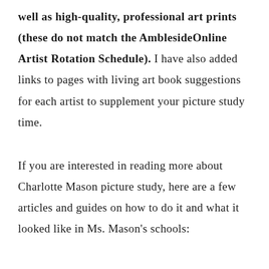well as high-quality, professional art prints (these do not match the AmblesideOnline Artist Rotation Schedule). I have also added links to pages with living art book suggestions for each artist to supplement your picture study time.
If you are interested in reading more about Charlotte Mason picture study, here are a few articles and guides on how to do it and what it looked like in Ms. Mason's schools: